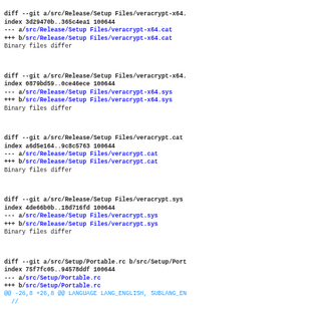diff --git a/src/Release/Setup Files/veracrypt-x64. index 3d29470b..365c4ea1 100644
--- a/src/Release/Setup Files/veracrypt-x64.cat
+++ b/src/Release/Setup Files/veracrypt-x64.cat
Binary files differ
diff --git a/src/Release/Setup Files/veracrypt-x64. index 0879bd59..0ce46ece 100644
--- a/src/Release/Setup Files/veracrypt-x64.sys
+++ b/src/Release/Setup Files/veracrypt-x64.sys
Binary files differ
diff --git a/src/Release/Setup Files/veracrypt.cat index a6d5e164..9c8c5763 100644
--- a/src/Release/Setup Files/veracrypt.cat
+++ b/src/Release/Setup Files/veracrypt.cat
Binary files differ
diff --git a/src/Release/Setup Files/veracrypt.sys index 4de66b0b..18d716fd 100644
--- a/src/Release/Setup Files/veracrypt.sys
+++ b/src/Release/Setup Files/veracrypt.sys
Binary files differ
diff --git a/src/Setup/Portable.rc b/src/Setup/Port index 75f7fc05..94578ddf 100644
--- a/src/Setup/Portable.rc
+++ b/src/Setup/Portable.rc
@@ -26,8 +26,8 @@ LANGUAGE LANG_ENGLISH, SUBLANG_EN
 //